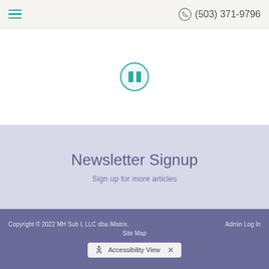(503) 371-9796
[Figure (other): Pause button icon - circular teal outlined button with two vertical bars]
Newsletter Signup
Sign up for more articles
Copyright © 2022 MH Sub I, LLC dba iMatrix. Admin Log In Site Map